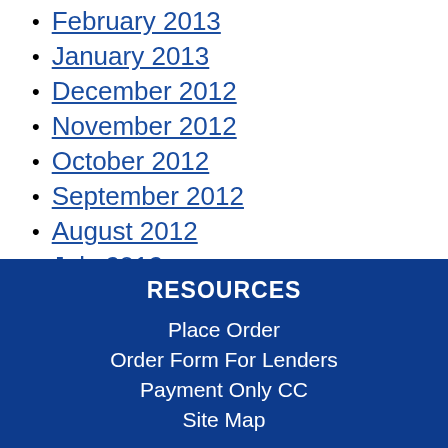February 2013
January 2013
December 2012
November 2012
October 2012
September 2012
August 2012
July 2012
June 2012
May 2012
April 2012
March 2012
RESOURCES
Place Order
Order Form For Lenders
Payment Only CC
Site Map